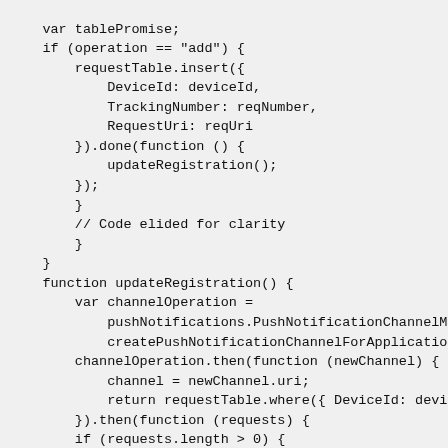var tablePromise;
    if (operation == "add") {
        requestTable.insert({
            DeviceId: deviceId,
            TrackingNumber: reqNumber,
            RequestUri: reqUri
        }).done(function () {
            updateRegistration();
        });
        }
        // Code elided for clarity
        }
    }
    function updateRegistration() {
        var channelOperation =
            pushNotifications.PushNotificationChannelMa
            createPushNotificationChannelForApplicationA
        channelOperation.then(function (newChannel) {
            channel = newChannel.uri;
            return requestTable.where({ DeviceId: device
        }).then(function (requests) {
        if (requests.length > 0) {
            var trackingNumArray = getTrackingNumbers(re
            return hub.registerApplicationAsync(channel,